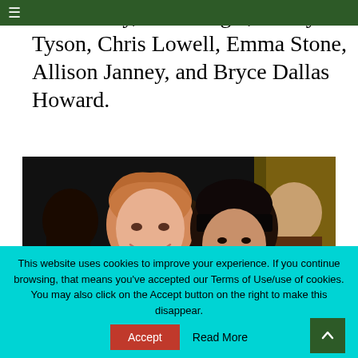≡
na O'Reilly, Mike Vogel, Cicely Tyson, Chris Lowell, Emma Stone, Allison Janney, and Bryce Dallas Howard.
[Figure (photo): Group photo of several people at what appears to be an entertainment event. A woman with auburn/strawberry blonde hair is prominently smiling in the foreground, beside a woman with dark black bangs. Other figures visible in background.]
This website uses cookies to improve your experience. If you continue browsing, that means you've accepted our Terms of Use/use of cookies. You may also click on the Accept button on the right to make this disappear.